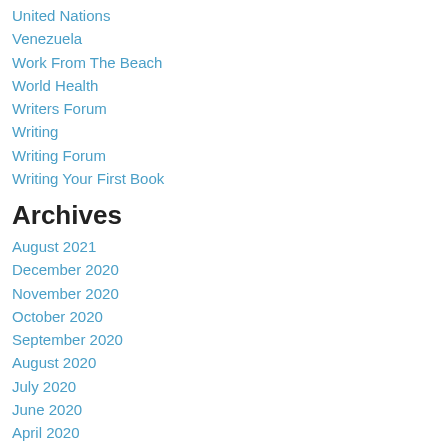United Nations
Venezuela
Work From The Beach
World Health
Writers Forum
Writing
Writing Forum
Writing Your First Book
Archives
August 2021
December 2020
November 2020
October 2020
September 2020
August 2020
July 2020
June 2020
April 2020
January 2020
December 2019